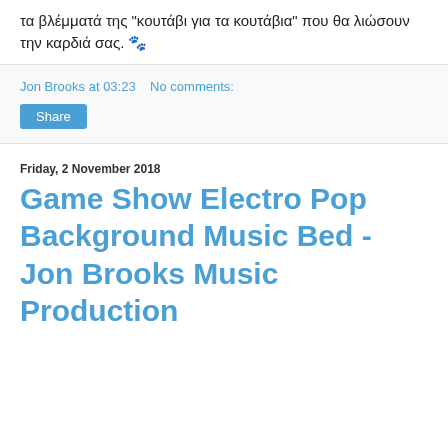τα βλέμματά της "κουτάβι για τα κουτάβια" που θα λιώσουν την καρδιά σας. 🐾
Jon Brooks at 03:23    No comments:
Share
Friday, 2 November 2018
Game Show Electro Pop Background Music Bed - Jon Brooks Music Production